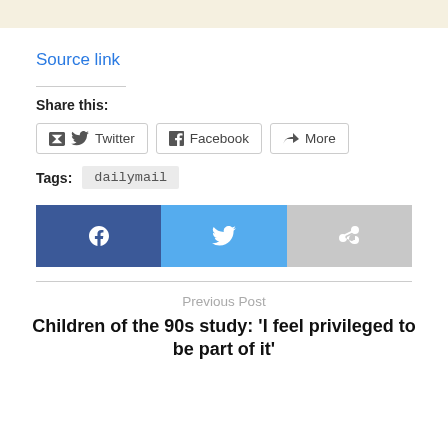Source link
Share this:
Twitter  Facebook  More
Tags:  dailymail
[Figure (infographic): Social sharing buttons bar: Facebook (dark blue), Twitter (light blue), Share (gray)]
Previous Post
Children of the 90s study: ‘I feel privileged to be part of it’